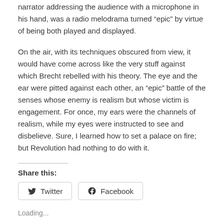narrator addressing the audience with a microphone in his hand, was a radio melodrama turned “epic” by virtue of being both played and displayed.
On the air, with its techniques obscured from view, it would have come across like the very stuff against which Brecht rebelled with his theory. The eye and the ear were pitted against each other, an “epic” battle of the senses whose enemy is realism but whose victim is engagement. For once, my ears were the channels of realism, while my eyes were instructed to see and disbelieve. Sure, I learned how to set a palace on fire; but Revolution had nothing to do with it.
Share this:
Twitter  Facebook
Loading...